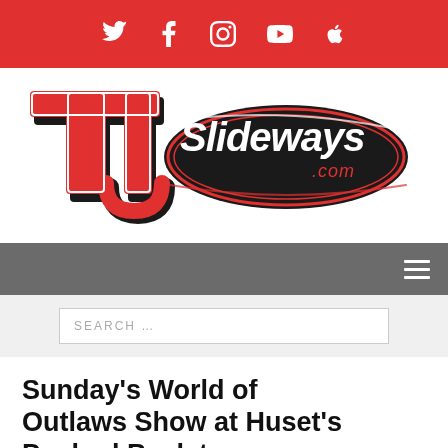Social media icons bar (Twitter, Facebook, Instagram, YouTube, Apple)
[Figure (logo): TJ Slideways .com logo — red and black stylized letters TJ with Slideways.com in cursive on a black oval]
Navigation bar with hamburger menu icon
SEARCH ...
Sunday's World of Outlaws Show at Huset's Pushed Back to Wednesday, June 22